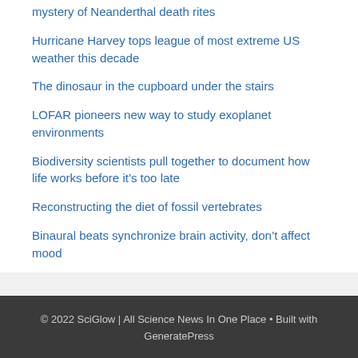mystery of Neanderthal death rites
Hurricane Harvey tops league of most extreme US weather this decade
The dinosaur in the cupboard under the stairs
LOFAR pioneers new way to study exoplanet environments
Biodiversity scientists pull together to document how life works before it’s too late
Reconstructing the diet of fossil vertebrates
Binaural beats synchronize brain activity, don’t affect mood
© 2022 SciGlow | All Science News In One Place • Built with GeneratePress